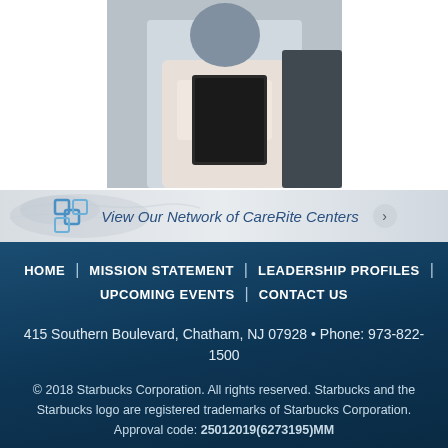[Figure (photo): Person holding a tablet or folder, viewed from below/side angle]
[Figure (infographic): Network banner with CareRite Centers logo and text 'View Our Network of CareRite Centers' with arrow button]
HOME | MISSION STATEMENT | LEADERSHIP PROFILES | UPCOMING EVENTS | CONTACT US
415 Southern Boulevard, Chatham, NJ 07928 • Phone: 973-822-1500
© 2018 Starbucks Corporation. All rights reserved. Starbucks and the Starbucks logo are registered trademarks of Starbucks Corporation. Approval code: 25012019(6273195)MM